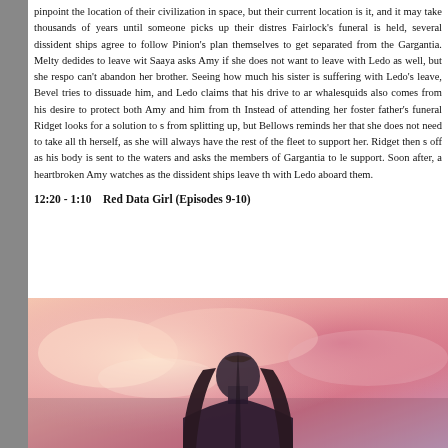pinpoint the location of their civilization in space, but their current location is it, and it may take thousands of years until someone picks up their distres Fairlock's funeral is held, several dissident ships agree to follow Pinion's plan themselves to get separated from the Gargantia. Melty dedides to leave wit Saaya asks Amy if she does not want to leave with Ledo as well, but she respo can't abandon her brother. Seeing how much his sister is suffering with Ledo's leave, Bevel tries to dissuade him, and Ledo claims that his drive to ar whalesquids also comes from his desire to protect both Amy and him from th Instead of attending her foster father's funeral Ridget looks for a solution to s from splitting up, but Bellows reminds her that she does not need to take all th herself, as she will always have the rest of the fleet to support her. Ridget then s off as his body is sent to the waters and asks the members of Gargantia to le support. Soon after, a heartbroken Amy watches as the dissident ships leave th with Ledo aboard them.
12:20 - 1:10    Red Data Girl (Episodes 9-10)
[Figure (photo): Anime screenshot showing a girl with long dark hair viewed from behind, against a soft pink and orange cloudy background. She appears to be wearing a purple outfit.]